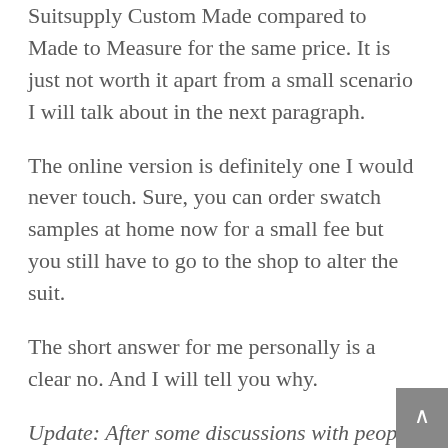Suitsupply Custom Made compared to Made to Measure for the same price. It is just not worth it apart from a small scenario I will talk about in the next paragraph.
The online version is definitely one I would never touch. Sure, you can order swatch samples at home now for a small fee but you still have to go to the shop to alter the suit.
The short answer for me personally is a clear no. And I will tell you why.
Update: After some discussions with people and some valid arguments, I can definitely see a bit more value. The quality of the Suitsupply MTM Service depends on the skill of your tailor. This